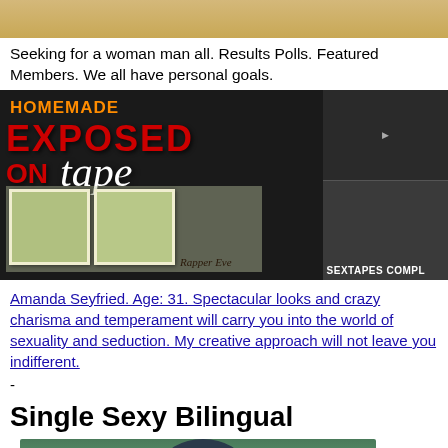[Figure (photo): Partial image at top of page, cropped skin-toned and textured background]
Seeking for a woman man all. Results Polls. Featured Members. We all have personal goals.
[Figure (photo): Banner advertisement for 'Homemade Exposed on Tape' with text overlay, polaroid photos labeled 'Rapper Eve', woman figure, and 'SEXTAPES COMPL...' label on right side]
Amanda Seyfried. Age: 31. Spectacular looks and crazy charisma and temperament will carry you into the world of sexuality and seduction. My creative approach will not leave you indifferent.
-
Single Sexy Bilingual
[Figure (photo): Partial photo at bottom showing person against green background]